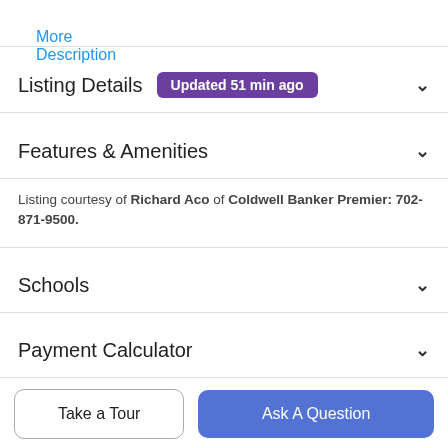More Description
Listing Details  Updated 51 min ago
Features & Amenities
Listing courtesy of Richard Aco of Coldwell Banker Premier: 702-871-9500.
Schools
Payment Calculator
Contact Agent
Take a Tour
Ask A Question